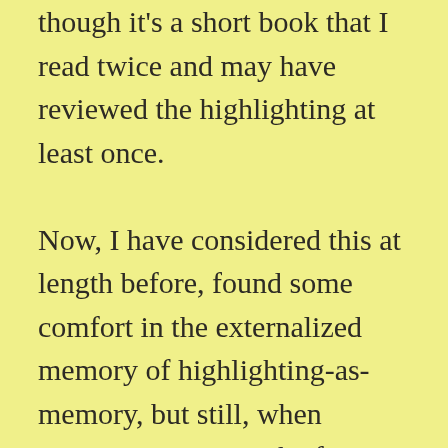though it's a short book that I read twice and may have reviewed the highlighting at least once.

Now, I have considered this at length before, found some comfort in the externalized memory of highlighting-as-memory, but still, when someone mentions the fact that